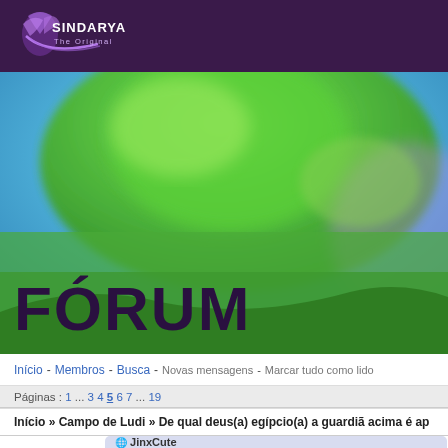Sindarya - The Original (logo/header bar)
[Figure (screenshot): Hero background image showing a green dragon or creature against a blue sky, blurred background]
FÓRUM
Início - Membros - Busca - Novas mensagens - Marcar tudo como lido
Páginas : 1 ... 3 4 5 6 7 ... 19
Início » Campo de Ludi » De qual deus(a) egípcio(a) a guardiã acima é ap
🌐 JinxCute
Conjuradora de sombras